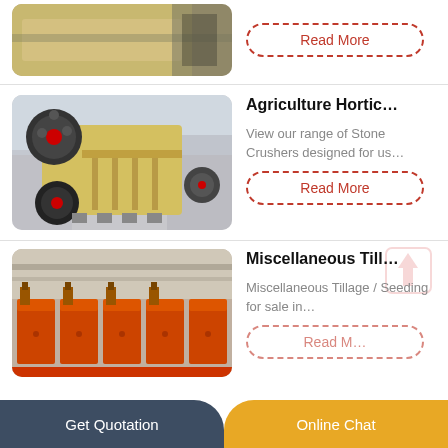[Figure (photo): Partial view of yellow industrial machine/conveyor equipment in a factory]
Read More
[Figure (photo): Yellow jaw crusher machine on wheels in a factory warehouse]
Agriculture Hortic…
View our range of Stone Crushers designed for us…
Read More
[Figure (photo): Row of orange industrial machines in a factory]
Miscellaneous Till…
Miscellaneous Tillage / Seeding for sale in…
Read More
Get Quotation    Online Chat